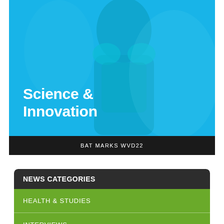[Figure (photo): A person in a lab coat or protective gear photographed against a bright blue background, tinted in cyan/teal tones. Text overlay reads 'Science & Innovation' in bold white font.]
BAT MARKS WVD22
NEWS CATEGORIES
HEALTH & STUDIES
INTERVIEWS
OPINIONS
POLITICS & CAMPAIGNS